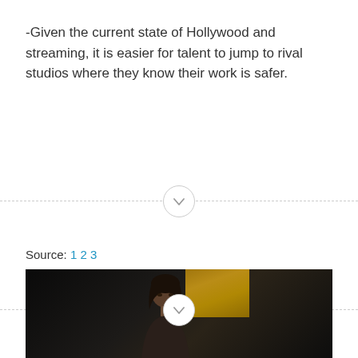-Given the current state of Hollywood and streaming, it is easier for talent to jump to rival studios where they know their work is safer.
[Figure (other): Collapse/expand toggle button with dashed divider line (first)]
[Figure (other): Collapse/expand toggle button with dashed divider line (second)]
Source: 1 2 3
[Figure (photo): Photo of a woman at what appears to be a formal event or awards show, dark background with golden stage decorations visible]